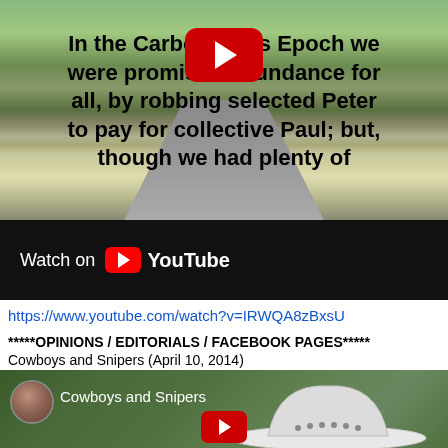[Figure (screenshot): YouTube video screenshot showing a road scene with bold text overlay reading 'In the Carboniferous Epoch we were promised abundance for all, by robbing selected Peter to pay for collective Paul; but, though we had plenty of' with YouTube play button and 'Watch on YouTube' bar at bottom]
https://www.youtube.com/watch?v=IRWQA8zBxsU
*****OPINIONS / EDITORIALS / FACEBOOK PAGES*****
Cowboys and Snipers (April 10, 2014)
[Figure (screenshot): YouTube video thumbnail for 'Cowboys and Snipers' channel, showing a person wearing a large white cowboy hat, with channel avatar on left side and red YouTube play button]